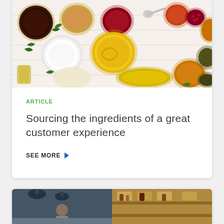[Figure (photo): Overhead flat-lay photo of various sauces, condiments, and spices in bowls and jars on a white wooden surface — includes dark sauce, mustard, mayonnaise, various colorful spices and herbs]
ARTICLE
Sourcing the ingredients of a great customer experience
SEE MORE
[Figure (photo): Partial view of a second article card showing two photos: left side shows a person in a restaurant setting, right side shows a warmly lit restaurant interior]